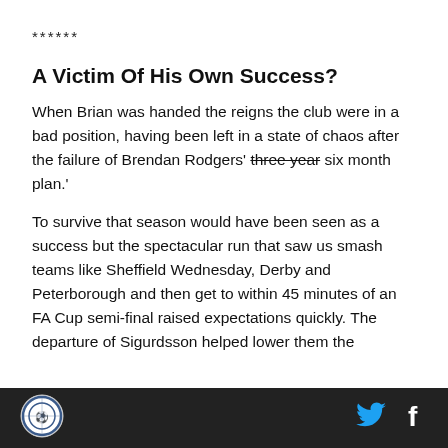******
A Victim Of His Own Success?
When Brian was handed the reigns the club were in a bad position, having been left in a state of chaos after the failure of Brendan Rodgers' three year six month plan.'
To survive that season would have been seen as a success but the spectacular run that saw us smash teams like Sheffield Wednesday, Derby and Peterborough and then get to within 45 minutes of an FA Cup semi-final raised expectations quickly. The departure of Sigurdsson helped lower them the
[Figure (logo): Club crest logo in footer]
[Figure (logo): Twitter bird icon in footer]
[Figure (logo): Facebook f icon in footer]